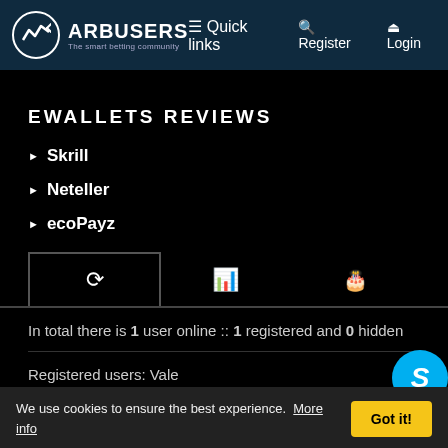ARBUSERS - The smart betting community | Quick links | Register | Login
EWALLETS REVIEWS
Skrill
Neteller
ecoPayz
In total there is 1 user online :: 1 registered and 0 hidden
Registered users: Vale
24, 2021 4:28
Theme.
We use cookies to ensure the best experience.  More info